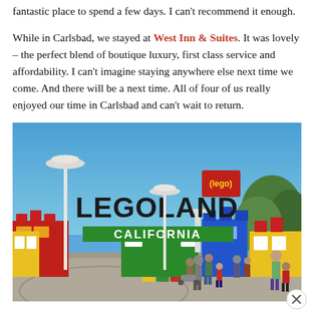fantastic place to spend a few days. I can't recommend it enough.

While in Carlsbad, we stayed at West Inn & Suites. It was lovely – the perfect blend of boutique luxury, first class service and affordability. I can't imagine staying anywhere else next time we come. And there will be a next time. All of four of us really enjoyed our time in Carlsbad and can't wait to return.
[Figure (photo): Entrance to LEGOLAND California theme park showing the large LEGOLAND sign with LEGO logo above it, colorful LEGO-brick-themed buildings in red, yellow, green and blue, lamp posts, and crowds of visitors in the foreground on a sunny day with clear blue sky.]